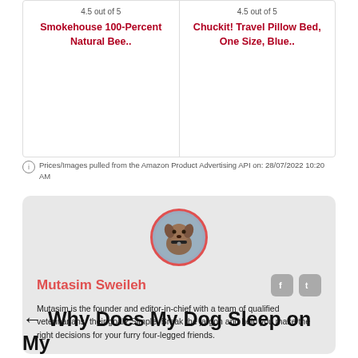4.5 out of 5
Smokehouse 100-Percent Natural Bee..
4.5 out of 5
Chuckit! Travel Pillow Bed, One Size, Blue..
Prices/Images pulled from the Amazon Product Advertising API on: 28/07/2022 10:20 AM
[Figure (photo): Circular avatar photo of a brown dog wearing a collar, with a red circular border]
Mutasim Sweileh
Mutasim is the founder and editor-in-chief with a team of qualified veterinarians, their goal? Simple. Break the jargon and help you make the right decisions for your furry four-legged friends.
← Why Does My Dog Sleep on My